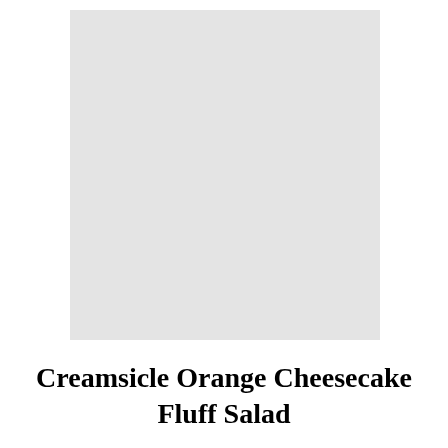[Figure (photo): A light gray rectangular image placeholder, no visible content.]
Creamsicle Orange Cheesecake Fluff Salad